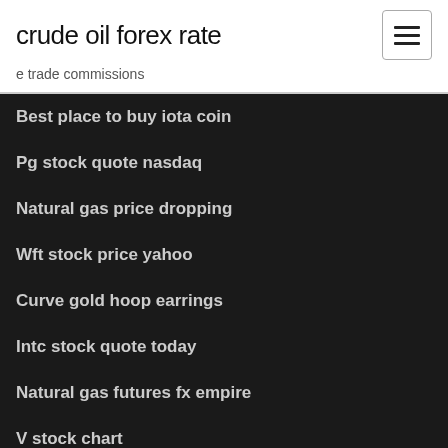crude oil forex rate
e trade commissions
Best place to buy iota coin
Pg stock quote nasdaq
Natural gas price dropping
Wft stock price yahoo
Curve gold hoop earrings
Intc stock quote today
Natural gas futures fx empire
V stock chart
Uk online stock brokerage
Trading apps with no commission